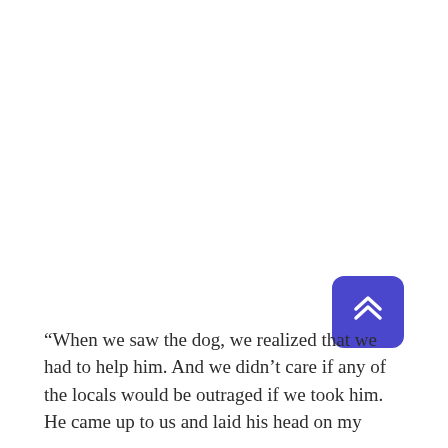[Figure (other): A blue rounded square button with double upward chevron arrows (scroll-to-top UI element), positioned in the lower-right area of the page.]
“When we saw the dog, we realized that we had to help him. And we didn’t care if any of the locals would be outraged if we took him. He came up to us and laid his head on my